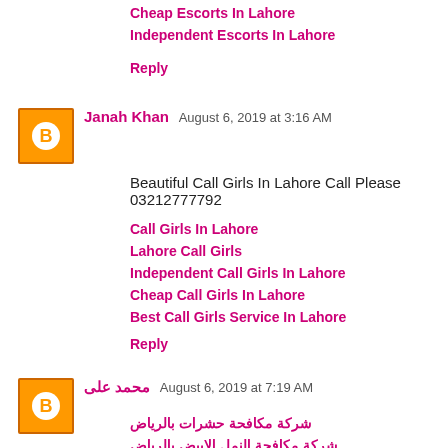Cheap Escorts In Lahore
Independent Escorts In Lahore
Reply
Janah Khan  August 6, 2019 at 3:16 AM
Beautiful Call Girls In Lahore Call Please 03212777792
Call Girls In Lahore
Lahore Call Girls
Independent Call Girls In Lahore
Cheap Call Girls In Lahore
Best Call Girls Service In Lahore
Reply
محمد علی  August 6, 2019 at 7:19 AM
شركة مكافحة حشرات بالرياض
شركة مكافحة النمل الابيض بالرياض